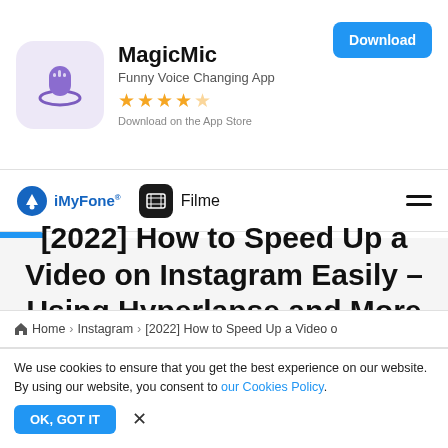[Figure (screenshot): MagicMic app advertisement banner with app icon, title, subtitle, star rating, App Store label, and Download button]
iMyFone® Filme navigation bar with hamburger menu
[2022] How to Speed Up a Video on Instagram Easily – Using Hyperlapse and More
Home > Instagram > [2022] How to Speed Up a Video o
We use cookies to ensure that you get the best experience on our website. By using our website, you consent to our Cookies Policy.